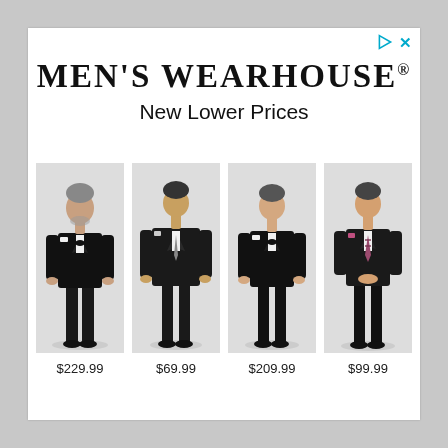MEN'S WEARHOUSE®
New Lower Prices
[Figure (photo): Man in black tuxedo with bow tie, full length standing pose]
$229.99
[Figure (photo): Man in black suit with tie, full length standing pose]
$69.99
[Figure (photo): Man in black tuxedo with bow tie and pocket square, full length standing pose]
$209.99
[Figure (photo): Man in black suit with patterned tie and pocket square, full length standing pose]
$99.99